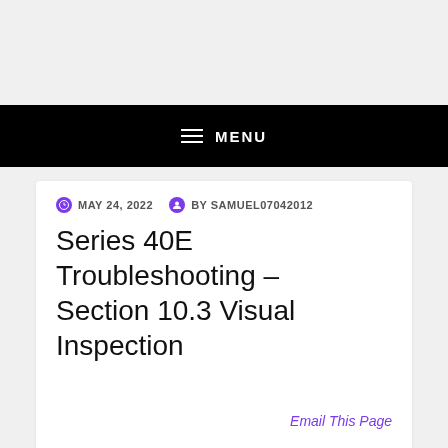MENU
MAY 24, 2022  BY SAMUEL07042012
Series 40E Troubleshooting – Section 10.3 Visual Inspection
Email This Page
Section 10.3 Visual Inspection